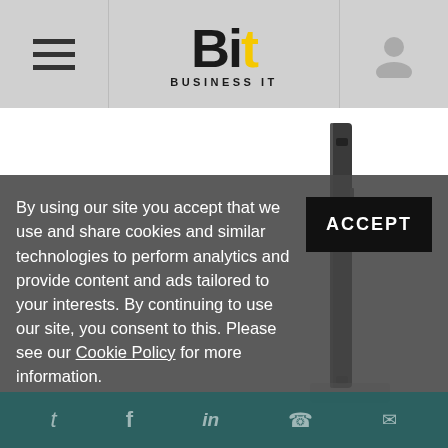Bit Business IT
[Figure (photo): Side view of a thin dark smartphone or iPhone displayed against a white background, showing the edge/profile of the device]
By using our site you accept that we use and share cookies and similar technologies to perform analytics and provide content and ads tailored to your interests. By continuing to use our site, you consent to this. Please see our Cookie Policy for more information.